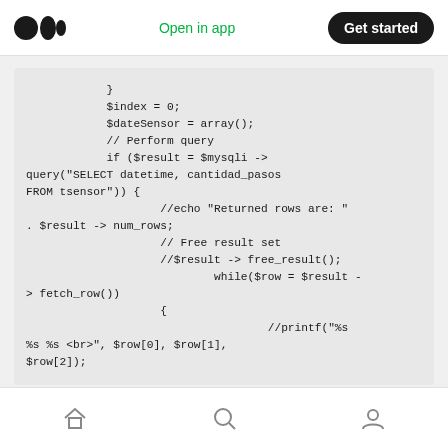Open in app | Get started
}
            $index = 0;
            $dateSensor = array();
            // Perform query
            if ($result = $mysqli ->
query("SELECT datetime, cantidad_pasos
FROM tsensor")) {
                    //echo "Returned rows are: "
. $result -> num_rows;
                    // Free result set
                    //$result -> free_result();
                            while($row = $result -
> fetch_row())
                    {
                                    //printf("%s
%s %s <br>", $row[0], $row[1],
$row[2]);
home | search | profile